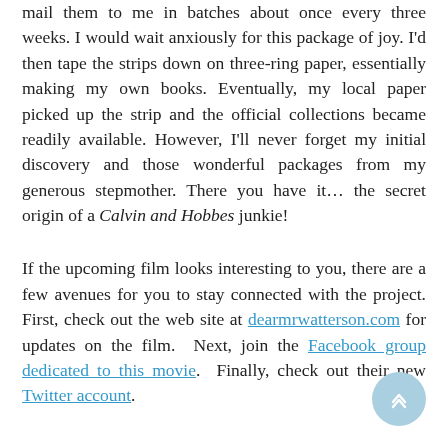out the Calvin and Hobbes strips every day and would mail them to me in batches about once every three weeks. I would wait anxiously for this package of joy. I'd then tape the strips down on three-ring paper, essentially making my own books. Eventually, my local paper picked up the strip and the official collections became readily available. However, I'll never forget my initial discovery and those wonderful packages from my generous stepmother. There you have it… the secret origin of a Calvin and Hobbes junkie!
If the upcoming film looks interesting to you, there are a few avenues for you to stay connected with the project. First, check out the web site at dearmrwatterson.com for updates on the film. Next, join the Facebook group dedicated to this movie. Finally, check out their new Twitter account.